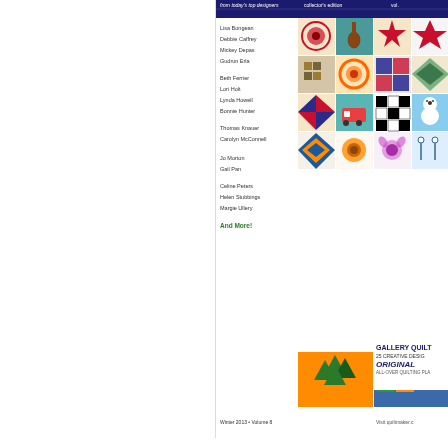[Figure (illustration): Magazine cover for a quilting publication (Gallery Quilts, Collector's Edition Volume 8, Winter 2013). Shows a grid of colorful quilt block images with names of designers listed on the left side including Lisa Bongean, Debbie Caffrey, Mickey Depas, Gudrun Erla, Beth Ferrier, Lori Holt, Lynda Howell, Bonnie Hunter, Thomas Knauer, Carolyn McConnell, Jo Morton, Gail Pan, Celine Peters, Helen Stubbings, Margie Ullery, and And More!]
Many of you suggested putting a Go wherever your creativity leads
If you didn't win a copy of the ma Volume 8 up on my website now,
I'd like to welcome new subscribe bookmarked the site. Excellent! B the blog. We celebrate all forms o information. Check out the applic keyword search in the left sideba tons of designers and pattern co